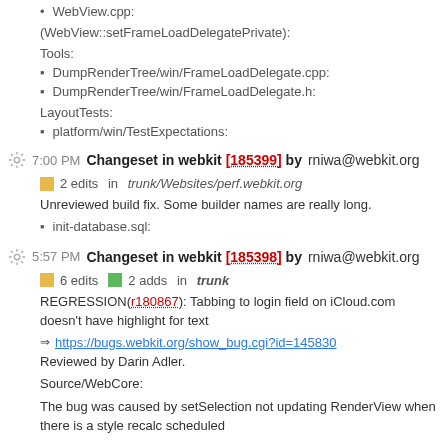WebView.cpp:
(WebView::setFrameLoadDelegatePrivate):
Tools:
DumpRenderTree/win/FrameLoadDelegate.cpp:
DumpRenderTree/win/FrameLoadDelegate.h:
LayoutTests:
platform/win/TestExpectations:
7:00 PM Changeset in webkit [185399] by rniwa@webkit.org
2 edits in trunk/Websites/perf.webkit.org
Unreviewed build fix. Some builder names are really long.
init-database.sql:
5:57 PM Changeset in webkit [185398] by rniwa@webkit.org
6 edits 2 adds in trunk
REGRESSION(r180867): Tabbing to login field on iCloud.com doesn't have highlight for text
https://bugs.webkit.org/show_bug.cgi?id=145830
Reviewed by Darin Adler.
Source/WebCore:
The bug was caused by setSelection not updating RenderView when there is a style recalc scheduled